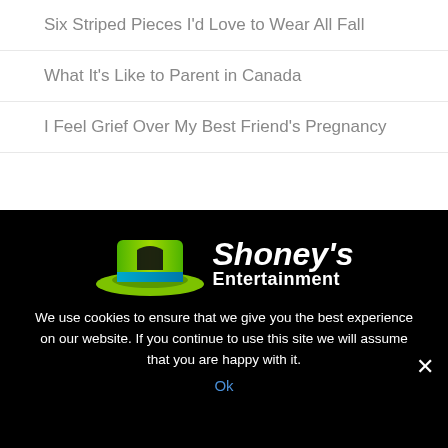Six Striped Pieces I’d Love to Wear All Fall
What It’s Like to Parent in Canada
I Feel Grief Over My Best Friend’s Pregnancy
[Figure (logo): Shoney's Entertainment logo with a green hat icon and white stylized text]
We use cookies to ensure that we give you the best experience on our website. If you continue to use this site we will assume that you are happy with it.
Ok